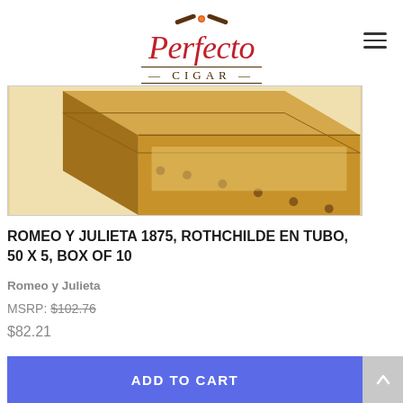[Figure (logo): Perfecto Cigar logo with crossed cigars icon above stylized red italic 'Perfecto' text and brown uppercase 'CIGAR' text with horizontal rules]
[Figure (photo): Product photo showing a wooden cigar box (Romeo y Julieta 1875 Rothchilde En Tubo) viewed at an angle, with orange/tan coloring and decorative labels]
ROMEO Y JULIETA 1875, ROTHCHILDE EN TUBO, 50 X 5, BOX OF 10
Romeo y Julieta
MSRP: $102.76
$82.21
ADD TO CART